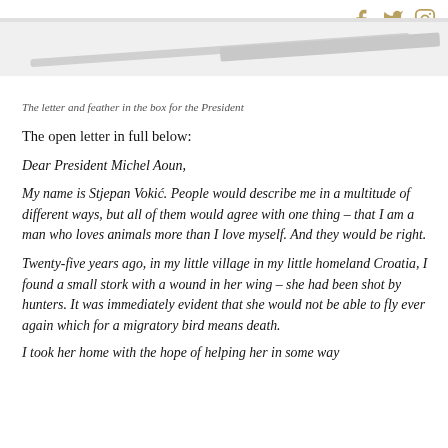[Figure (photo): Partial view of a letter and feather in a decorative box, shown from above. A long white/silver diagonal object (feather or letter opener) is visible against a white background.]
The letter and feather in the box for the President
The open letter in full below:
Dear President Michel Aoun,
My name is Stjepan Vokić. People would describe me in a multitude of different ways, but all of them would agree with one thing – that I am a man who loves animals more than I love myself. And they would be right.
Twenty-five years ago, in my little village in my little homeland Croatia, I found a small stork with a wound in her wing – she had been shot by hunters. It was immediately evident that she would not be able to fly ever again which for a migratory bird means death.
I took her home with the hope of helping her in some way...